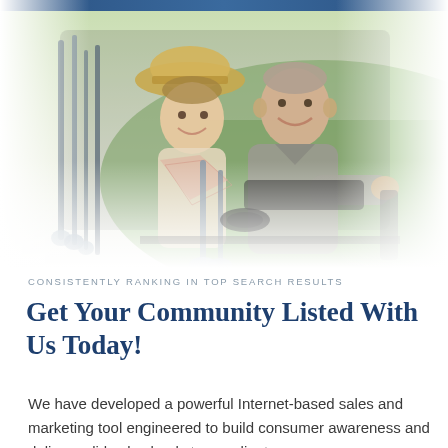[Figure (photo): A smiling middle-aged couple sitting in a golf cart. The woman wears a straw hat and scarf; the man wears a grey polo shirt. Golf clubs are visible behind them on a green golf course background.]
CONSISTENTLY RANKING IN TOP SEARCH RESULTS
Get Your Community Listed With Us Today!
We have developed a powerful Internet-based sales and marketing tool engineered to build consumer awareness and deliver solid sales leads to our clients